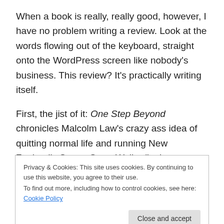When a book is really, really good, however, I have no problem writing a review. Look at the words flowing out of the keyboard, straight onto the WordPress screen like nobody's business. This review? It's practically writing itself.
First, the jist of it: One Step Beyond chronicles Malcolm Law's crazy ass idea of quitting normal life and running New Zealand's Seven Great Walks (in the mainland) in Seven Days to raise money for the Leukaemia and Blood Foundation (which is now called Leukaemia & Blood
Privacy & Cookies: This site uses cookies. By continuing to use this website, you agree to their use. To find out more, including how to control cookies, see here: Cookie Policy
Close and accept